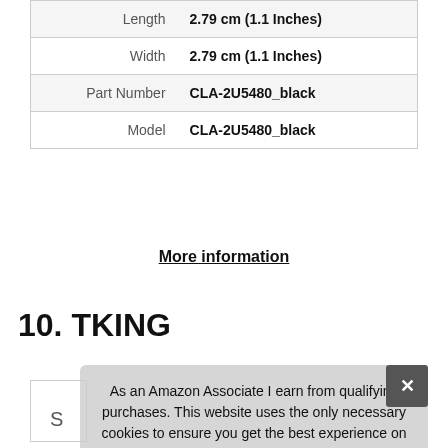| Attribute | Value |
| --- | --- |
| Length | 2.79 cm (1.1 Inches) |
| Width | 2.79 cm (1.1 Inches) |
| Part Number | CLA-2U5480_black |
| Model | CLA-2U5480_black |
More information
10. TKING
As an Amazon Associate I earn from qualifying purchases. This website uses the only necessary cookies to ensure you get the best experience on our website. More information